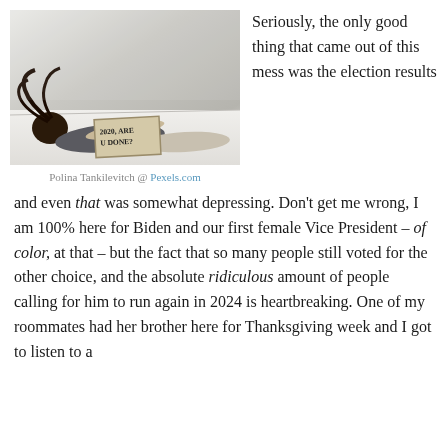[Figure (photo): A person lying on a white surface holding a sign that reads '2020, ARE U DONE?']
Polina Tankilevitch @ Pexels.com
Seriously, the only good thing that came out of this mess was the election results and even that was somewhat depressing. Don't get me wrong, I am 100% here for Biden and our first female Vice President – of color, at that – but the fact that so many people still voted for the other choice, and the absolute ridiculous amount of people calling for him to run again in 2024 is heartbreaking. One of my roommates had her brother here for Thanksgiving week and I got to listen to a